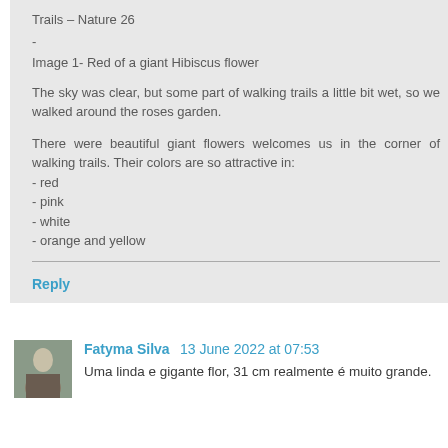Trails – Nature 26
-
Image 1- Red of a giant Hibiscus flower
The sky was clear, but some part of walking trails a little bit wet, so we walked around the roses garden.
There were beautiful giant flowers welcomes us in the corner of walking trails. Their colors are so attractive in:
- red
- pink
- white
- orange and yellow
Reply
Fatyma Silva  13 June 2022 at 07:53
Uma linda e gigante flor, 31 cm realmente é muito grande.